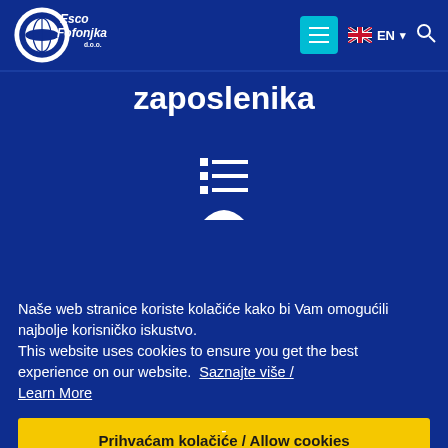[Figure (logo): Esco Fofonjka d.o.o. company logo — white shield/globe icon with company name in white text on dark blue background]
zaposlenika
[Figure (infographic): White list/bullet icon with three rows and lines, followed by a semi-circle arc below (menu/profile icon)]
Naše web stranice koriste kolačiće kako bi Vam omogućili najbolje korisničko iskustvo. This website uses cookies to ensure you get the best experience on our website. Saznajte više / Learn More
Prihvaćam kolačiće / Allow cookies